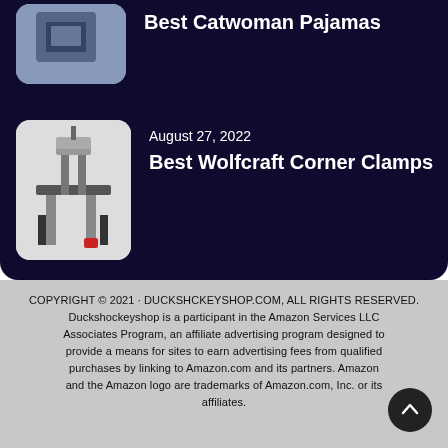Best Catwoman Pajamas
August 27, 2022
Best Wolfcraft Corner Clamps
COPYRIGHT © 2021 · DUCKSHCKEYSHOP.COM, ALL RIGHTS RESERVED. Duckshockeyshop is a participant in the Amazon Services LLC Associates Program, an affiliate advertising program designed to provide a means for sites to earn advertising fees from qualified purchases by linking to Amazon.com and its partners. Amazon and the Amazon logo are trademarks of Amazon.com, Inc. or its affiliates.